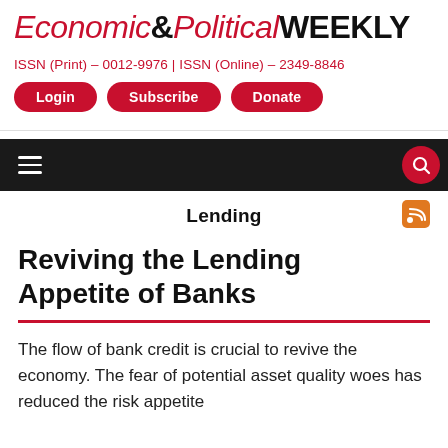Economic&Political WEEKLY
ISSN (Print) - 0012-9976 | ISSN (Online) - 2349-8846
Login  Subscribe  Donate
Lending
Reviving the Lending Appetite of Banks
The flow of bank credit is crucial to revive the economy. The fear of potential asset quality woes has reduced the risk appetite